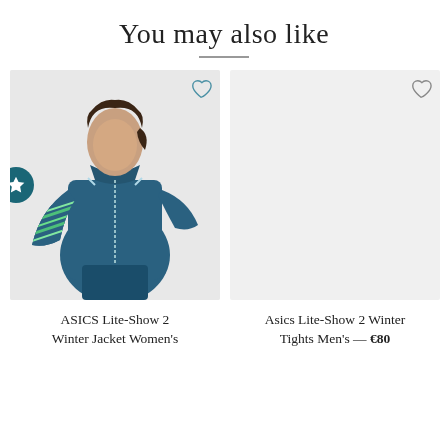You may also like
[Figure (photo): Photo of a woman wearing an ASICS Lite-Show 2 Winter Jacket in teal/blue with reflective patterned sleeves]
ASICS Lite-Show 2 Winter Jacket Women's
[Figure (photo): Placeholder product image (light gray background) for Asics Lite-Show 2 Winter Tights Men's]
Asics Lite-Show 2 Winter Tights Men's — €80